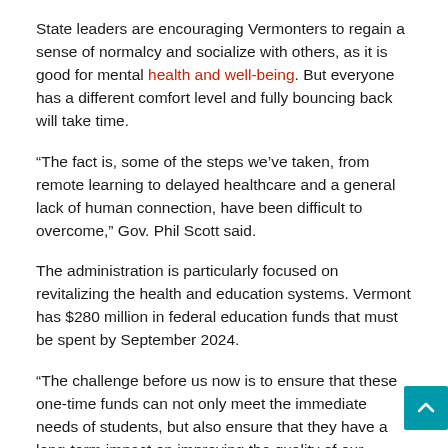State leaders are encouraging Vermonters to regain a sense of normalcy and socialize with others, as it is good for mental health and well-being. But everyone has a different comfort level and fully bouncing back will take time.
“The fact is, some of the steps we’ve taken, from remote learning to delayed healthcare and a general lack of human connection, have been difficult to overcome,” Gov. Phil Scott said.
The administration is particularly focused on revitalizing the health and education systems. Vermont has $280 million in federal education funds that must be spent by September 2024.
“The challenge before us now is to ensure that these one-time funds can not only meet the immediate needs of students, but also ensure that they have a long-term impact on improving the quality of our education system” , said Sec. Dan French with the Education Agency.